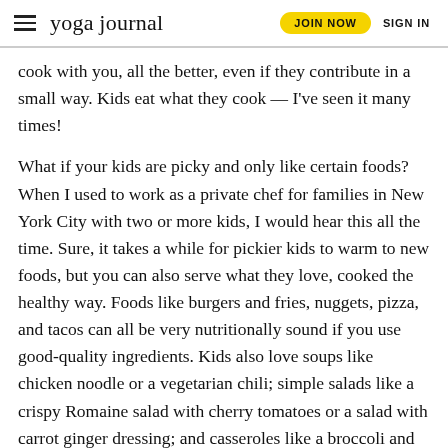yoga journal | JOIN NOW | SIGN IN
cook with you, all the better, even if they contribute in a small way. Kids eat what they cook — I've seen it many times!
What if your kids are picky and only like certain foods? When I used to work as a private chef for families in New York City with two or more kids, I would hear this all the time. Sure, it takes a while for pickier kids to warm to new foods, but you can also serve what they love, cooked the healthy way. Foods like burgers and fries, nuggets, pizza, and tacos can all be very nutritionally sound if you use good-quality ingredients. Kids also love soups like chicken noodle or a vegetarian chili; simple salads like a crispy Romaine salad with cherry tomatoes or a salad with carrot ginger dressing; and casseroles like a broccoli and noodle casserole.
When planning your meals, be sure to include lots of nutrient-